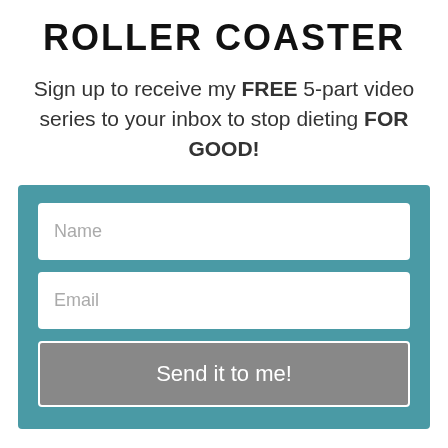ROLLER COASTER
Sign up to receive my FREE 5-part video series to your inbox to stop dieting FOR GOOD!
[Figure (other): Sign-up form with Name field, Email field, and a 'Send it to me!' submit button on a teal background]